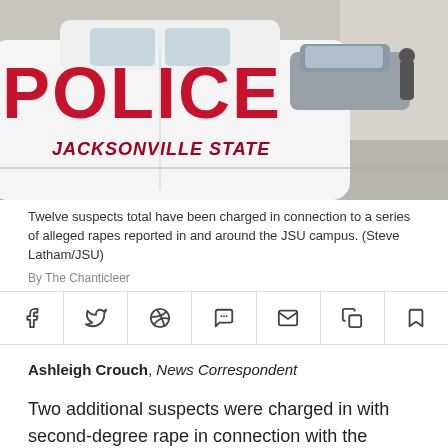[Figure (photo): A Jacksonville State University police car in the foreground with 'POLICE' and 'JACKSONVILLE STATE' text visible in red lettering. A gray car and a person are visible in the background on a concrete surface.]
Twelve suspects total have been charged in connection to a series of alleged rapes reported in and around the JSU campus. (Steve Latham/JSU)
By The Chanticleer
Ashleigh Crouch, News Correspondent
Two additional suspects were charged in with second-degree rape in connection with the series of reported